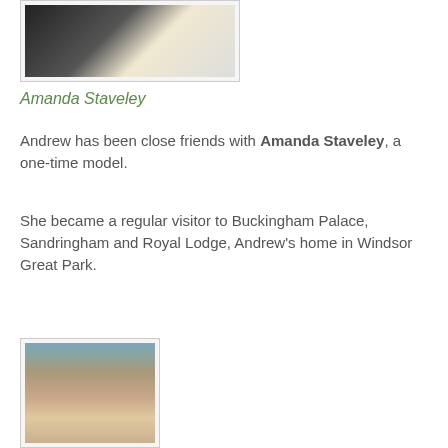[Figure (photo): Wedding photo showing a couple, the woman in a white dress with flowers]
Amanda Staveley
Andrew has been close friends with Amanda Staveley, a one-time model.
She became a regular visitor to Buckingham Palace, Sandringham and Royal Lodge, Andrew's home in Windsor Great Park.
[Figure (photo): A woman in a bikini at what appears to be a beach or pool setting]
Alexandra Escat